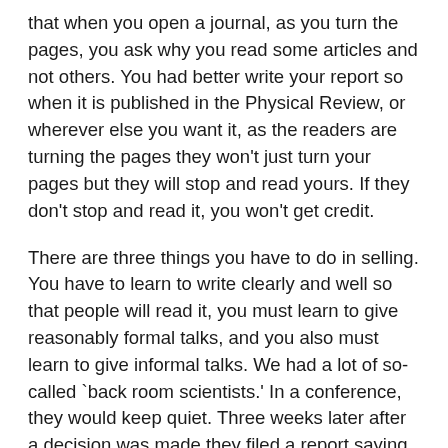that when you open a journal, as you turn the pages, you ask why you read some articles and not others. You had better write your report so when it is published in the Physical Review, or wherever else you want it, as the readers are turning the pages they won't just turn your pages but they will stop and read yours. If they don't stop and read it, you won't get credit.
There are three things you have to do in selling. You have to learn to write clearly and well so that people will read it, you must learn to give reasonably formal talks, and you also must learn to give informal talks. We had a lot of so-called `back room scientists.' In a conference, they would keep quiet. Three weeks later after a decision was made they filed a report saying why you should do so and so. Well, it was too late. They would not stand up right in the middle of a hot conference, in the middle of activity, and say, ``We should do this for these reasons." You need to master that form of communication as well as prepared speeches.